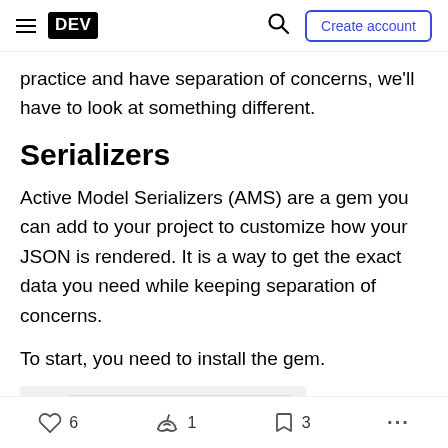DEV | Create account
practice and have separation of concerns, we'll have to look at something different.
Serializers
Active Model Serializers (AMS) are a gem you can add to your project to customize how your JSON is rendered. It is a way to get the exact data you need while keeping separation of concerns.
To start, you need to install the gem.
gem 'active_model_serializers'
6  1  3  ...